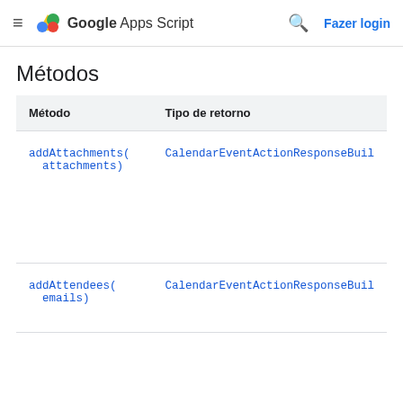Google Apps Script — Fazer login
Métodos
| Método | Tipo de retorno |
| --- | --- |
| addAttachments(attachments) | CalendarEventActionResponseBuil |
| addAttendees(emails) | CalendarEventActionResponseBuil |